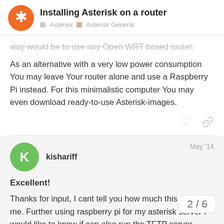Installing Asterisk on a router | Asterisk | Asterisk General
way would be to use any Open WRT based router.
As an alternative with a very low power consumption You may leave Your router alone and use a Raspberry Pi instead. For this minimalistic computer You may even download ready-to-use Asterisk-images.
kishariff  May '14
Excellent!
Thanks for input, I cant tell you how much this helped me. Further using raspberry pi for my asterisk server I would like to know if can also run the TFTP server which would require for my CISCO 7940 IP Phones to work ( If I am not wrong this what I did using my desktop as Asteris... transfer files to my IP Phones).
2 / 6